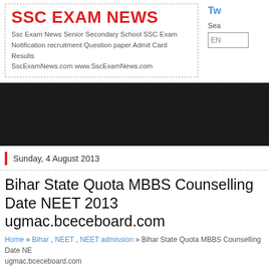SSC EXAM NEWS
Ssc Exam News Senior Secondary School SSC Exam Notification recruitment Question paper Admit Card Results SscExamNews.com www.SscExamNews.com
Tw
Sea
EN
[Figure (other): Dark black banner/advertisement area]
Sunday, 4 August 2013
Bihar State Quota MBBS Counselling Date NEET 2013 ugmac.bceceboard.com
Home » Bihar , NEET , NEET admission » Bihar State Quota MBBS Counselling Date NEET 2013 ugmac.bceceboard.com
All those candidates who declared qualified in CBSE NEET Examination 2013 and interested to take admission via Bihar State quota of CBSE NEET for 85% medical Seats now informed that they can apply for State quota counselling in Bihar. Candidates have